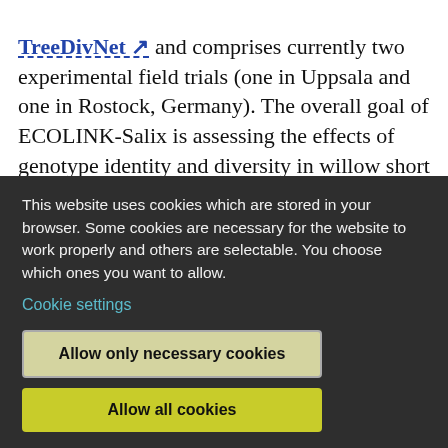TreeDivNet [external link] and comprises currently two experimental field trials (one in Uppsala and one in Rostock, Germany). The overall goal of ECOLINK-Salix is assessing the effects of genotype identity and diversity in willow short rotation coppice on various ecosystem functions and, ultimately, willow growth and yield stability (e.g. resistance to drought and pests), and a [continues...]
This website uses cookies which are stored in your browser. Some cookies are necessary for the website to work properly and others are selectable. You choose which ones you want to allow.
Cookie settings
Allow only necessary cookies
Allow all cookies